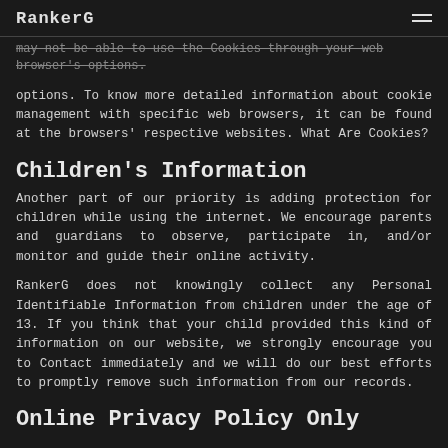RankerG
may not be able to use the Cookies through your web browser's options. To know more detailed information about cookie management with specific web browsers, it can be found at the browsers' respective websites. What Are Cookies?
Children's Information
Another part of our priority is adding protection for children while using the internet. We encourage parents and guardians to observe, participate in, and/or monitor and guide their online activity.
RankerG does not knowingly collect any Personal Identifiable Information from children under the age of 13. If you think that your child provided this kind of information on our website, we strongly encourage you to Contact immediately and we will do our best efforts to promptly remove such information from our records.
Online Privacy Policy Only